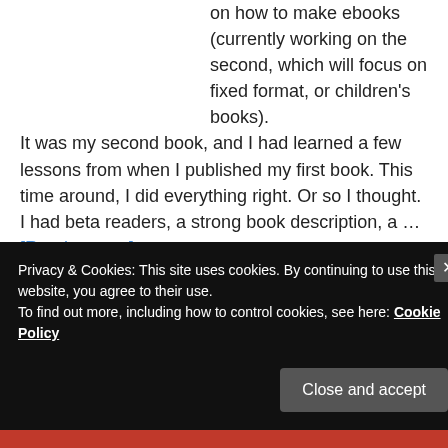on how to make ebooks (currently working on the second, which will focus on fixed format, or children's books). It was my second book, and I had learned a few lessons from when I published my first book. This time around, I did everything right. Or so I thought. I had beta readers, a strong book description, a … [Read more...]
Privacy & Cookies: This site uses cookies. By continuing to use this website, you agree to their use.
To find out more, including how to control cookies, see here: Cookie Policy